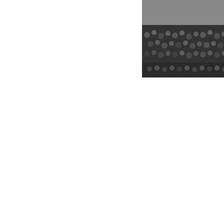[Figure (photo): Black and white photograph of a crowd of children at Empire Day celebration]
Children at Empire Day
"Salve - Cancellari..."
The Marquess... installed...
Italy's Her...
Gabriele D... figure meet...
That Chee...
A huge hipp... York Zoo.
Coster Am...